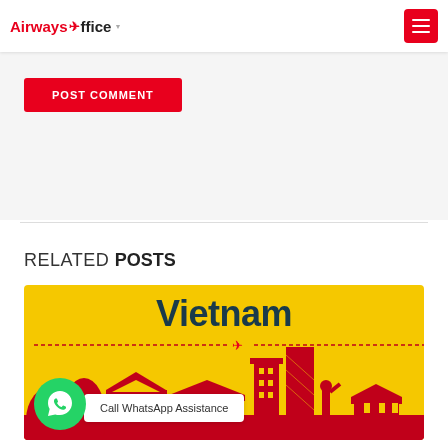Airways Office
POST COMMENT
RELATED POSTS
[Figure (illustration): Vietnam travel banner with yellow background, dark teal 'Vietnam' title text, red airplane icon on dashed flight path, red silhouette skyline of Vietnamese landmarks and buildings, red bottom bar. WhatsApp assistance button overlay at bottom left.]